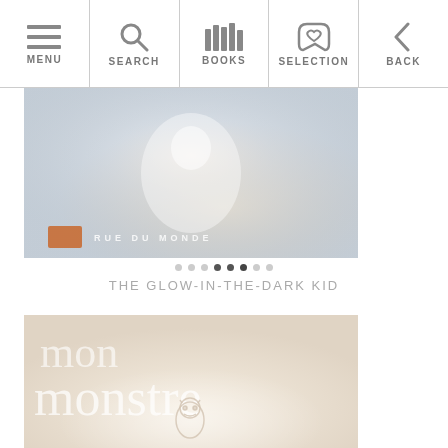MENU | SEARCH | BOOKS | SELECTION | BACK
[Figure (photo): Book cover image for 'The Glow-in-the-Dark Kid' showing soft light misty illustration with 'RUE DU MONDE' text overlay]
THE GLOW-IN-THE-DARK KID
[Figure (photo): Book cover image for 'Mon Monstre' showing light beige background with white serif text 'mon monstre' and a small monster illustration at the bottom]